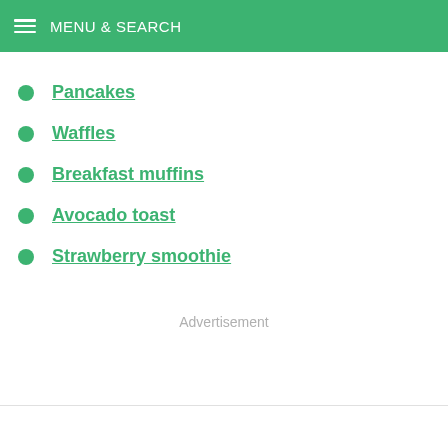MENU & SEARCH
Pancakes
Waffles
Breakfast muffins
Avocado toast
Strawberry smoothie
Advertisement